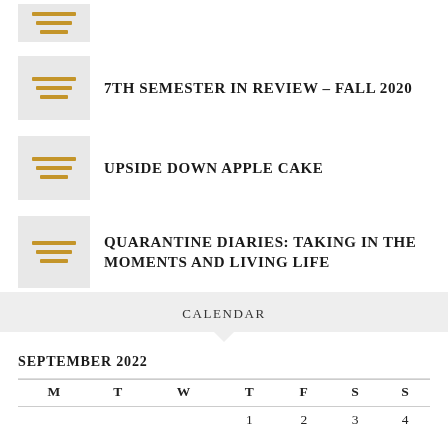(partial thumbnail — article excerpt)
7TH SEMESTER IN REVIEW – FALL 2020
UPSIDE DOWN APPLE CAKE
QUARANTINE DIARIES: TAKING IN THE MOMENTS AND LIVING LIFE
CALENDAR
SEPTEMBER 2022
| M | T | W | T | F | S | S |
| --- | --- | --- | --- | --- | --- | --- |
|  |  |  | 1 | 2 | 3 | 4 |